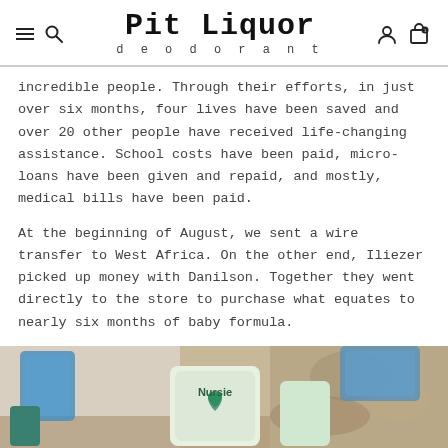Pit Liquor deodorant
incredible people. Through their efforts, in just over six months, four lives have been saved and over 20 other people have received life-changing assistance. School costs have been paid, micro-loans have been given and repaid, and mostly, medical bills have been paid.
At the beginning of August, we sent a wire transfer to West Africa. On the other end, Iliezer picked up money with Danilson. Together they went directly to the store to purchase what equates to nearly six months of baby formula.
[Figure (photo): Photo of baby formula cans including a 'Nursie' branded can, set on a surface against a worn wall]